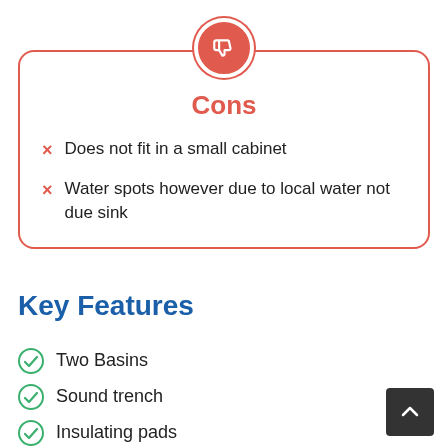Cons
Does not fit in a small cabinet
Water spots however due to local water not due sink
Key Features
Two Basins
Sound trench
Insulating pads